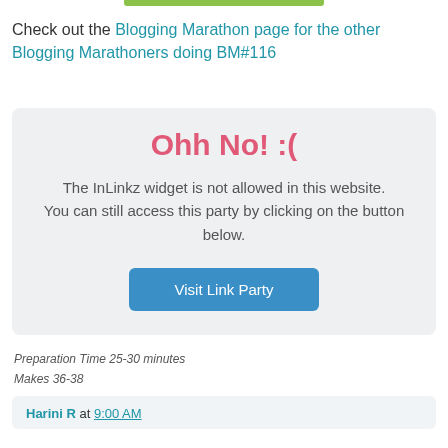[Figure (other): Green horizontal bar/button at top center]
Check out the Blogging Marathon page for the other Blogging Marathoners doing BM#116
[Figure (infographic): Error widget box with 'Ohh No! :(' heading, message about InLinkz widget not allowed, and 'Visit Link Party' button]
Preparation Time 25-30 minutes
Makes 36-38
Harini R at 9:00 AM